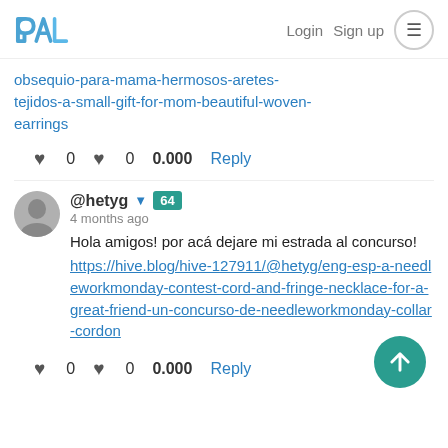PAL  Login  Sign up
obsequio-para-mama-hermosos-aretes-tejidos-a-small-gift-for-mom-beautiful-woven-earrings
♥ 0  ♥ 0  0.000  Reply
@hetyg ▾ 64
4 months ago
Hola amigos! por acá dejare mi estrada al concurso!
https://hive.blog/hive-127911/@hetyg/eng-esp-a-needleworkmonday-contest-cord-and-fringe-necklace-for-a-great-friend-un-concurso-de-needleworkmonday-collar-cordon
♥ 0  ♥ 0  0.000  Reply